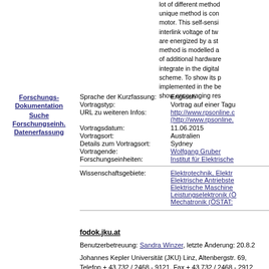lot of different methods... unique method is considered for the motor. This self-sensing method uses the interlink voltage of two motor windings that are energized by a standard inverter. The method is modelled and requires no use of additional hardware and is easy to integrate in the digital control scheme. To show its potential it is implemented in the benchmark system and show encouraging results.
Forschungs-Dokumentation
Suche
Forschungseinh.
Datenerfassung
Sprache der Kurzfassung: Englisch
Vortragstyp: Vortrag auf einer Tagu...
URL zu weiteren Infos: http://www.rpsonline.c... (http://www.rpsonline....
Vortragsdatum: 11.06.2015
Vortragsort: Australien
Details zum Vortragsort: Sydney
Vortragende: Wolfgang Gruber
Forschungseinheiten: Institut für Elektrische...
Wissenschaftsgebiete: Elektrotechnik, Elektr... Elektrische Antriebste... Elektrische Maschine... Leistungselektronik (Ö... Mechatronik (ÖSTAT:...
fodok.jku.at
Benutzerbetreuung: Sandra Winzer, letzte Änderung: 20.8....
Johannes Kepler Universität (JKU) Linz, Altenbergstr. 69, Telefon + 43 732 / 2468 - 9121, Fax + 43 732 / 2468 - 2912...